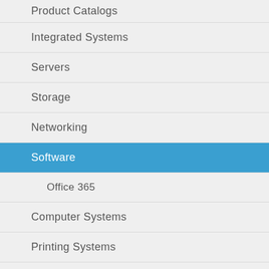Product Catalogs
Integrated Systems
Servers
Storage
Networking
Software
Office 365
Computer Systems
Printing Systems
Extended Warranty